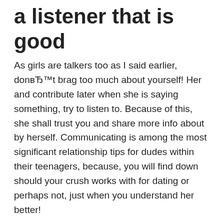a listener that is good
As girls are talkers too as I said earlier, donвЂ™t brag too much about yourself! Her and contribute later when she is saying something, try to listen to. Because of this, she shall trust you and share more info about by herself. Communicating is among the most significant relationship tips for dudes within their teenagers, because, you will find down should your crush works with for dating or perhaps not, just when you understand her better!
# 4: DonвЂ™t Decide To Try Way